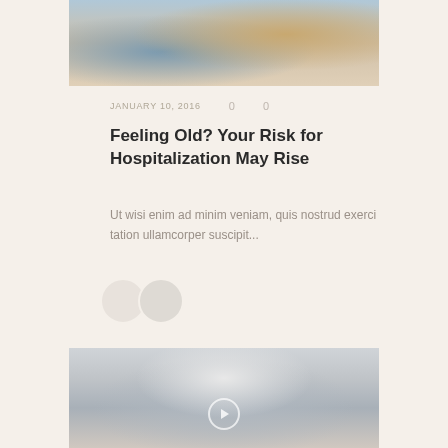[Figure (photo): Close-up photo of hands, partially visible, with blurred background — top portion of article card]
JANUARY 10, 2016   0   0
Feeling Old? Your Risk for Hospitalization May Rise
Ut wisi enim ad minim veniam, quis nostrud exerci tation ullamcorper suscipit...
[Figure (illustration): Two overlapping circular author avatar placeholders]
[Figure (photo): Photo of a person in a blue shirt and grey cardigan with hands clasped, with a play button overlay — bottom article card image]